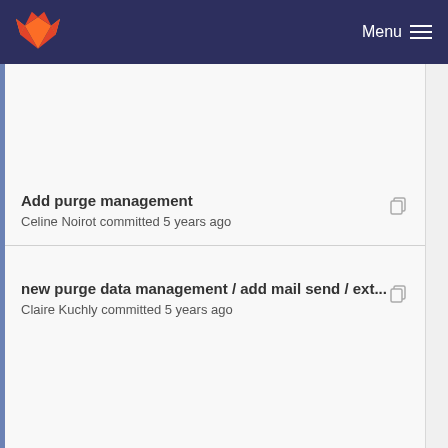[Figure (screenshot): GitLab navigation bar with fox logo on left and Menu text with hamburger icon on right, dark navy background]
Add purge management
Celine Noirot committed 5 years ago
new purge data management / add mail send / ext...
Claire Kuchly committed 5 years ago